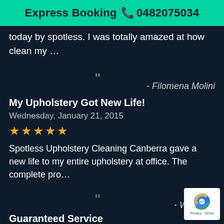Express Booking 📞 0482075034
today by spotless. I was totally amazed at how clean my …
- Filomena Molini
My Upholstery Got New Life!
Wednesday, January 21, 2015
★★★★★
Spotless Upholstery Cleaning Canberra gave a new life to my entire upholstery at office. The complete pro…
- Whitman
Guaranteed Service
Tuesday, May 7, 2019
★★★★★